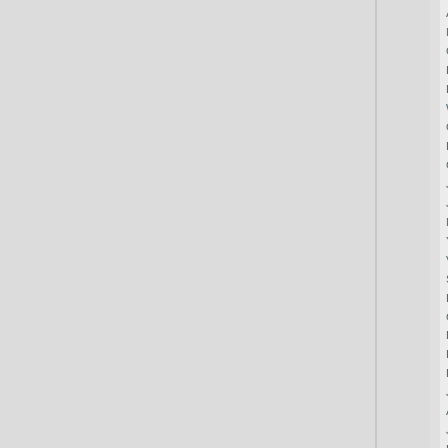Asics Shoes http://www.asics-...
Mcm Purse http://www.mcmha...
Curry 7 Shoes http://www.curry...
Puma Rihanna http://www.pum...
Ed Hardy http://www.ed-hardy.u...
Woolrich Parka http://www.woo...
Giuseppe Zanotti http://www.gi...
Birkenstock http://www.birkens...
Christian Louboutin http://www....
Jordan Retro http://www.jordan...
Jordan Retro 11 http://www.jord...
North Face Coat http://www.nor...
Yeezy Supply http://www.adidas...
Vibram Shoes http://www.vibram...
Supreme Clothing http://www.s...
Hugo Boss Jeans http://www.h...
Golden Goose Sale http://www....
Fjallraven Bags http://www.fjall...
Fila Trainers Womens http://ww...
Ed Hardy Jeans http://www.edh...
Jordan 12 http://www.jordan-11...
Asics Gel Kayano http://www.as...
Jordan Retro 11 http://www.jord...
Le Coq Sportif Usa http://www.l...
Off White Hoodie http://www.off...
North Face Vest http://www.nor...
Fila Trainers http://www.filatrain...
Fendi T Shirt http://www.fendish...
Hogan Shoes Outlet http://www...
Toms Shoes http://www.toms.u...
Bape Shirt http://www.bapehoo...
Jordan Retro 11 http://www.jord...
Suicoke Sale http://www.suicok...
Nike Lebrons http://www.lebron...
Jimmy Choo Boots http://www.j...
Adidas Canada http://www.yees...
Bvlgari Jewelry http://www.bvlg...